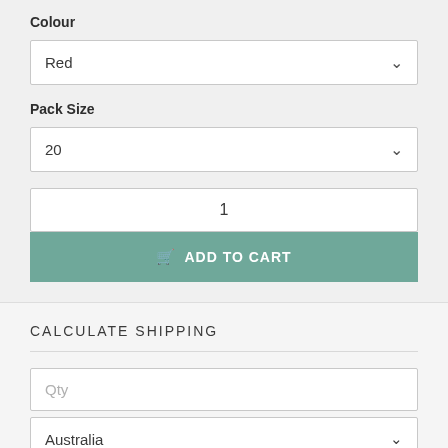Colour
Red
Pack Size
20
1
ADD TO CART
CALCULATE SHIPPING
Qty
Australia